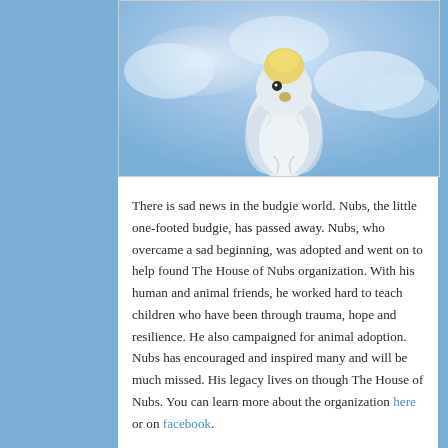[Figure (photo): A white budgie/parakeet bird photographed against a blue cloudy sky background, viewed from below/side angle with yellow head visible at top]
There is sad news in the budgie world. Nubs, the little one-footed budgie, has passed away. Nubs, who overcame a sad beginning, was adopted and went on to help found The House of Nubs organization. With his human and animal friends, he worked hard to teach children who have been through trauma, hope and resilience. He also campaigned for animal adoption. Nubs has encouraged and inspired many and will be much missed. His legacy lives on though The House of Nubs. You can learn more about the organization here or on facebook.
Posted in Feathered Friends | Tagged budgie, Cooper, Feathered Friends, Nubs, parakeet, The House of Nubs | 5 Replies